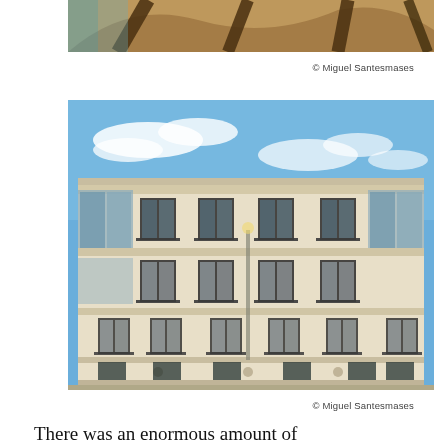[Figure (photo): Partial view of ornate architectural ceiling/roof structure with steel beams, warm brown tones, cropped at top of page]
© Miguel Santesmases
[Figure (photo): Low-angle exterior photograph of a classic European multi-storey residential building facade with balconies and ornate window frames, beige/cream stone, blue sky in background]
© Miguel Santesmases
There was an enormous amount of